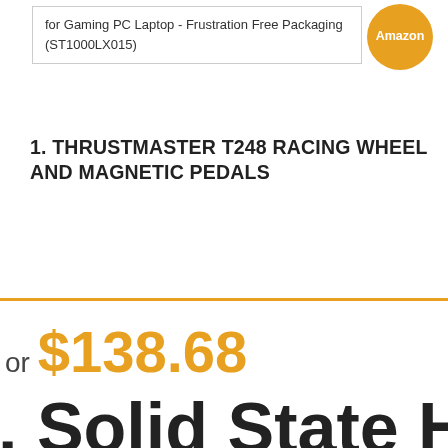for Gaming PC Laptop - Frustration Free Packaging (ST1000LX015)
[Figure (other): Amazon badge/logo orange circle]
1. THRUSTMASTER T248 RACING WHEEL AND MAGNETIC PEDALS
or $138.68
. Solid State Hybr